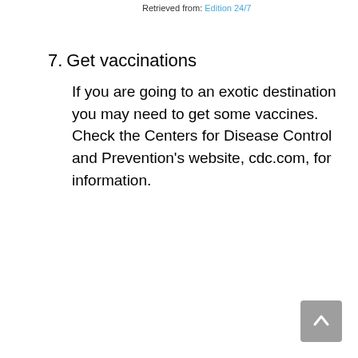Retrieved from: Edition 24/7
7. Get vaccinations
If you are going to an exotic destination you may need to get some vaccines.  Check the Centers for Disease Control and Prevention's website, cdc.com, for information.